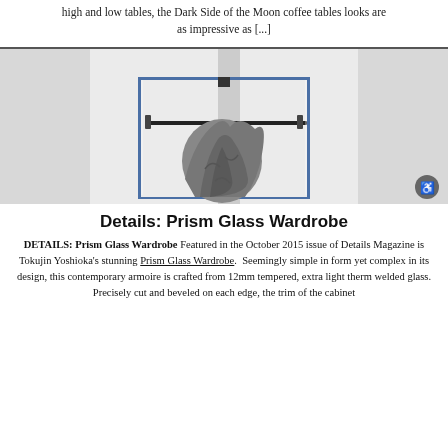high and low tables, the Dark Side of the Moon coffee tables looks are as impressive as [...]
[Figure (photo): Glass wardrobe (Prism Glass Wardrobe by Tokujin Yoshioka) with a sculptural crumpled clothing form inside, shown against a white background. The wardrobe has a transparent glass frame with a hanging rod.]
Details: Prism Glass Wardrobe
DETAILS: Prism Glass Wardrobe Featured in the October 2015 issue of Details Magazine is Tokujin Yoshioka's stunning Prism Glass Wardrobe. Seemingly simple in form yet complex in its design, this contemporary armoire is crafted from 12mm tempered, extra light therm welded glass. Precisely cut and beveled on each edge, the trim of the cabinet